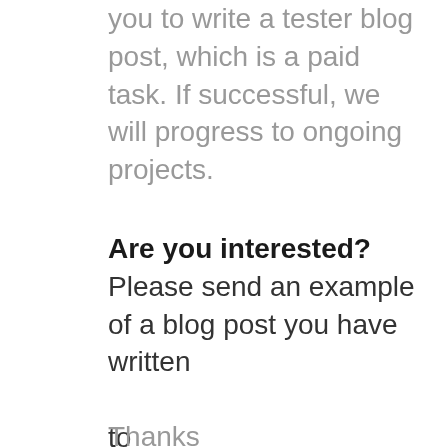you to write a tester blog post, which is a paid task. If successful, we will progress to ongoing projects.
Are you interested? Please send an example of a blog post you have written

to me@daniellatto.co.uk
Thanks